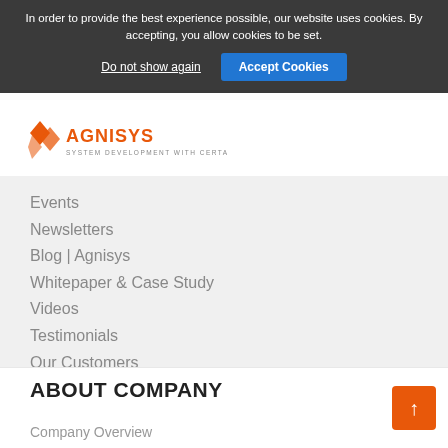In order to provide the best experience possible, our website uses cookies. By accepting, you allow cookies to be set.
Do not show again
Accept Cookies
[Figure (logo): Agnisys logo with orange flame/arrow shapes and text 'AGNISYS SYSTEM DEVELOPMENT WITH CERTAINTY']
Events
Newsletters
Blog | Agnisys
Whitepaper & Case Study
Videos
Testimonials
Our Customers
Press Release
ABOUT COMPANY
Company Overview